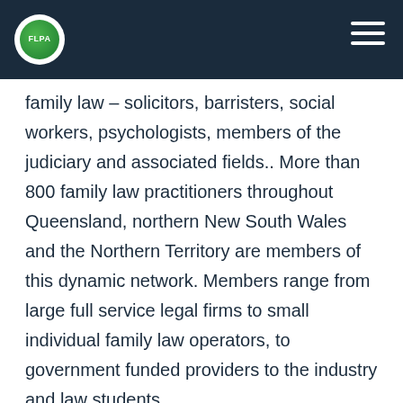FLPA logo and navigation header
family law – solicitors, barristers, social workers, psychologists, members of the judiciary and associated fields.. More than 800 family law practitioners throughout Queensland, northern New South Wales and the Northern Territory are members of this dynamic network. Members range from large full service legal firms to small individual family law operators, to government funded providers to the industry and law students.